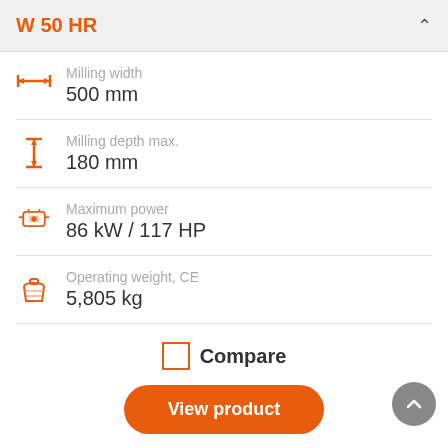W 50 HR
Milling width: 500 mm
Milling depth max.: 180 mm
Maximum power: 86 kW / 117 HP
Operating weight, CE: 5,805 kg
Compare
View product